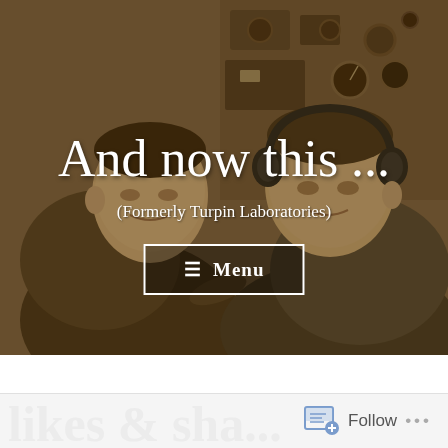[Figure (photo): Sepia-toned vintage photograph showing two men in suits, one wearing radio headphones, sitting near radio/communications equipment with dials and gauges visible in the background.]
And now this ...
(Formerly Turpin Laboratories)
≡ Menu
Follow ...